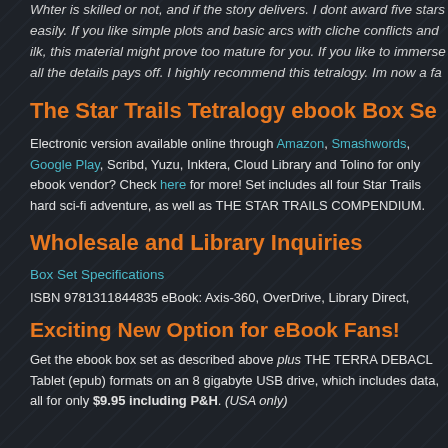Whter is skilled or not, and if the story delivers. I dont award five stars easily. If you like simple plots and basic arcs with cliche conflicts and ilk, this material might prove too mature for you. If you like to immerse all the details pays off. I highly recommend this tetralogy. Im now a fa
The Star Trails Tetralogy ebook Box Se
Electronic version available online through Amazon, Smashwords, Google Play, Scribd, Yuzu, Inktera, Cloud Library and Tolino for only ebook vendor? Check here for more! Set includes all four Star Trails hard sci-fi adventure, as well as THE STAR TRAILS COMPENDIUM.
Wholesale and Library Inquiries
Box Set Specifications
ISBN 9781311844835 eBook: Axis-360, OverDrive, Library Direct,
Exciting New Option for eBook Fans!
Get the ebook box set as described above plus THE TERRA DEBACL Tablet (epub) formats on an 8 gigabyte USB drive, which includes data, all for only $9.95 including P&H. (USA only)